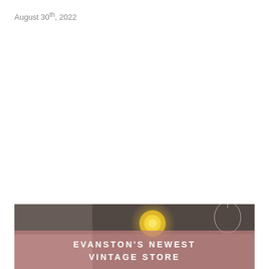August 30th, 2022
[Figure (photo): Interior photo of a vintage store with warm lighting, a glowing golden lamp in the center, and wire pendant lamps. A dusty rose/mauve semi-transparent overlay at the bottom displays the store name text. Text overlay reads: EVANSTON'S NEWEST VINTAGE STORE]